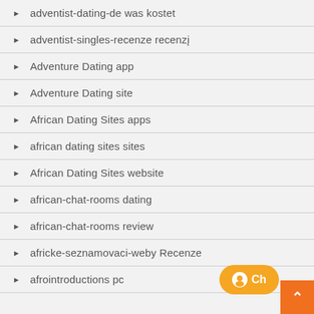adventist-dating-de was kostet
adventist-singles-recenze recenzÍ
Adventure Dating app
Adventure Dating site
African Dating Sites apps
african dating sites sites
African Dating Sites website
african-chat-rooms dating
african-chat-rooms review
africke-seznamovaci-weby Recenze
afrointroductions pc